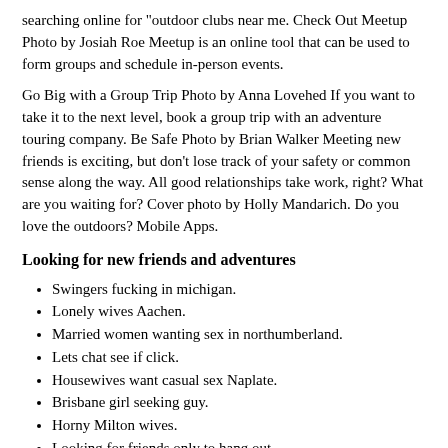searching online for "outdoor clubs near me. Check Out Meetup Photo by Josiah Roe Meetup is an online tool that can be used to form groups and schedule in-person events.
Go Big with a Group Trip Photo by Anna Lovehed If you want to take it to the next level, book a group trip with an adventure touring company. Be Safe Photo by Brian Walker Meeting new friends is exciting, but don't lose track of your safety or common sense along the way. All good relationships take work, right? What are you waiting for? Cover photo by Holly Mandarich. Do you love the outdoors? Mobile Apps.
Looking for new friends and adventures
Swingers fucking in michigan.
Lonely wives Aachen.
Married women wanting sex in northumberland.
Lets chat see if click.
Housewives want casual sex Naplate.
Brisbane girl seeking guy.
Horny Milton wives.
Looking for friends only to hang out.
Ponce naked girls.
Girls looking for sex Midland.
University MS sex dating.
Mobile chat Ro...